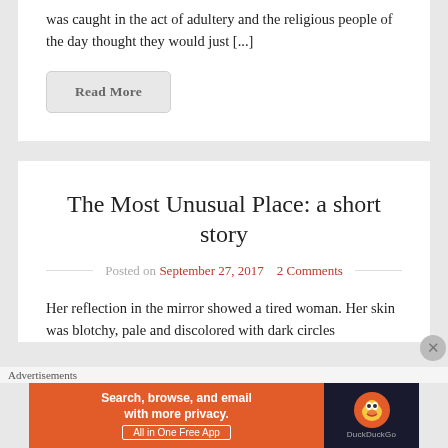was caught in the act of adultery and the religious people of the day thought they would just [...]
Read More
The Most Unusual Place: a short story
Posted on September 27, 2017   2 Comments
Her reflection in the mirror showed a tired woman. Her skin was blotchy, pale and discolored with dark circles
Advertisements
[Figure (screenshot): DuckDuckGo advertisement banner: orange left side with text 'Search, browse, and email with more privacy. All in One Free App' and dark right side with DuckDuckGo logo and duck icon]